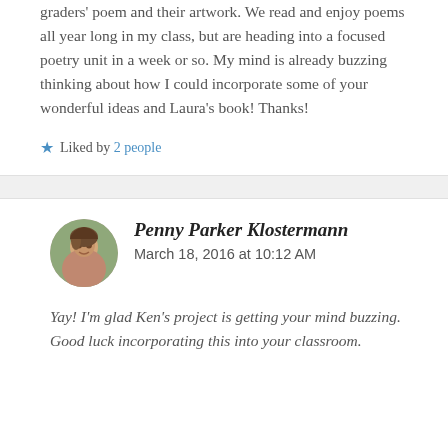graders' poem and their artwork. We read and enjoy poems all year long in my class, but are heading into a focused poetry unit in a week or so. My mind is already buzzing thinking about how I could incorporate some of your wonderful ideas and Laura's book! Thanks!
Liked by 2 people
Penny Parker Klostermann — March 18, 2016 at 10:12 AM
Yay! I'm glad Ken's project is getting your mind buzzing. Good luck incorporating this into your classroom.